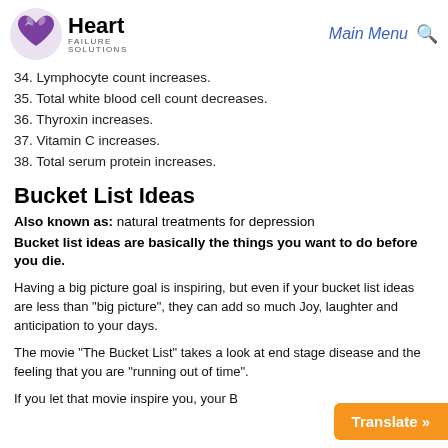Heart Failure Solutions — Main Menu
34. Lymphocyte count increases.
35. Total white blood cell count decreases.
36. Thyroxin increases.
37. Vitamin C increases.
38. Total serum protein increases.
Bucket List Ideas
Also known as: natural treatments for depression
Bucket list ideas are basically the things you want to do before you die.
Having a big picture goal is inspiring, but even if your bucket list ideas are less than "big picture", they can add so much Joy, laughter and anticipation to your days.
The movie "The Bucket List" takes a look at end stage disease and the feeling that you are "running out of time".
If you let that movie inspire you, your B